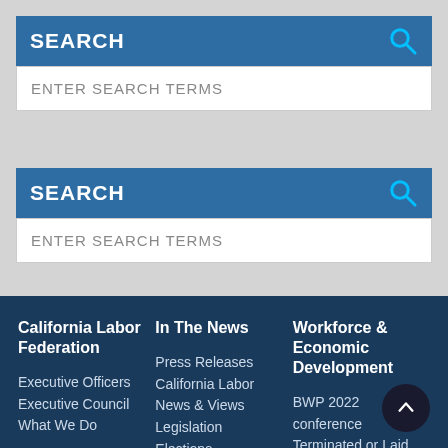SEARCH
ENTER SEARCH TERMS
SEARCH
ENTER SEARCH TERMS
California Labor Federation
Executive Officers
Executive Council
What We Do
In The News
Press Releases
California Labor News & Views
Legislation
Elections
Workforce & Economic Development
BWP 2022 conference
Terminated or Laid off the Job
Join an